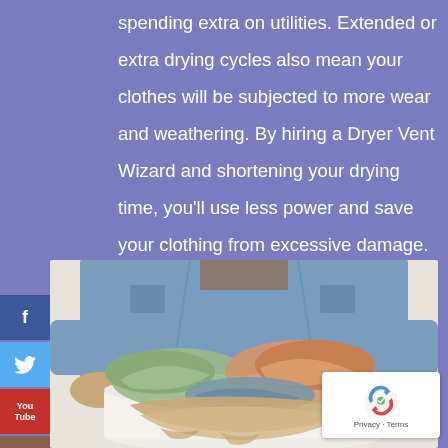spending extra on utilities. Extended or extra drying cycles also mean your clothes will be subjected to more wear and weathering. By hiring a Dryer Vent Wizard and shortening your drying time, you'll use less power and save your clothing from excessive damage.
[Figure (photo): Person holding a basket filled with colorful laundry — green, orange, and beige towels/clothes. Person wearing a denim shirt. White laundry basket visible at bottom.]